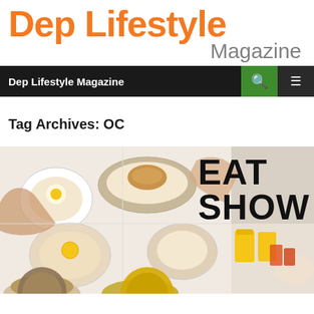Dep Lifestyle Magazine
Dep Lifestyle Magazine
Tag Archives: OC
[Figure (photo): Food spread image with various dishes viewed from above, with 'EAT SHOW' text overlay in bold black letters on the right side]